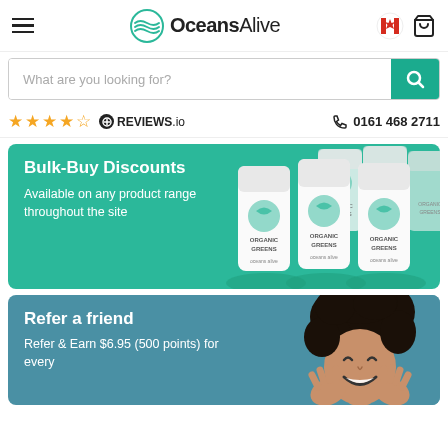OceansAlive - navigation bar with hamburger menu, logo, Canada flag icon, and cart icon
What are you looking for?
★★★★☆ REVIEWS.io  📞 0161 468 2711
[Figure (infographic): Bulk-Buy Discounts banner on teal/green background with multiple Organic Greens supplement containers on the right]
Bulk-Buy Discounts
Available on any product range throughout the site
[Figure (infographic): Refer a friend banner on blue background with smiling woman on the right]
Refer a friend
Refer & Earn $6.95 (500 points) for every